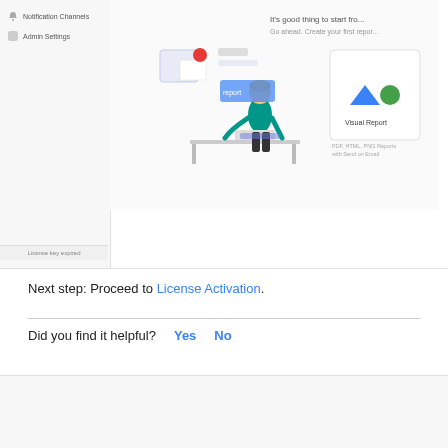[Figure (screenshot): A screenshot of the Skedler admin UI showing a sidebar with Notification Channels and Admin Settings menu items, and a main panel showing a dashboard with an illustration of a person working at a desk, report type selections, and a visual report card. The sidebar shows 'License key expired' at the bottom.]
Next step: Proceed to License Activation.
Did you find it helpful? Yes No
Related Articles
Deploy on Kubernetes - Skedler Reports v5
Upgrade from Skedler v4.x to v5.x in Docker Environments
How to Skedler Access Control and how to Restrict...